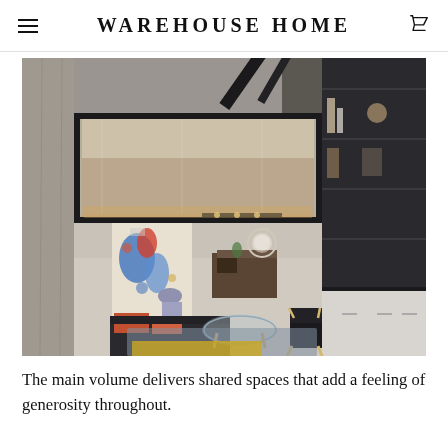WAREHOUSE HOME
[Figure (photo): Interior photograph of a warehouse loft conversion showing double-height open-plan living area with concrete ceiling, steel beams, mezzanine level with glass balustrade, dark shelving unit on right wall, colorful artwork on left wall, kitchen island with circular illuminated mirror in background, dark low sofa with orange cushions, glass coffee table, and Aalto-style lounge chair on grey and yellow area rugs.]
The main volume delivers shared spaces that add a feeling of generosity throughout.